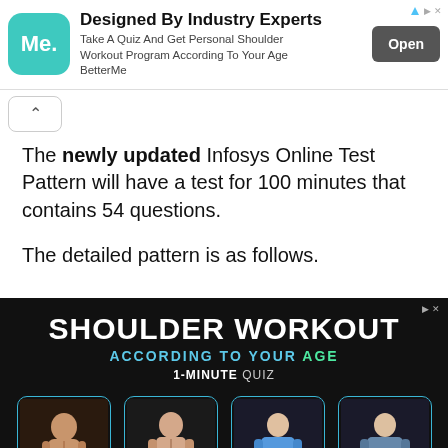[Figure (other): Top advertisement banner for BetterMe app. Logo: teal rounded square with 'Me.' text. Title: 'Designed By Industry Experts'. Subtitle: 'Take A Quiz And Get Personal Shoulder Workout Program According To Your Age BetterMe'. Button: 'Open'.]
The newly updated Infosys Online Test Pattern will have a test for 100 minutes that contains 54 questions.
The detailed pattern is as follows.
[Figure (other): Bottom advertisement for shoulder workout. Dark background with text 'SHOULDER WORKOUT ACCORDING TO YOUR AGE 1-MINUTE QUIZ' and four men of different ages illustrated in glowing boxes.]